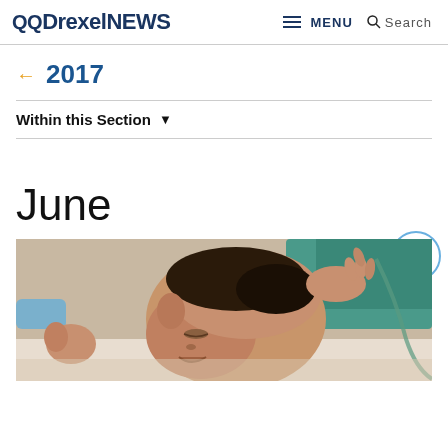DrexelNEWS  MENU  Search
← 2017
Within this Section ▼
June
[Figure (photo): Photograph of a newborn baby lying on its back, with hand raised near its head, in what appears to be a hospital or clinical setting with medical equipment visible in the background.]